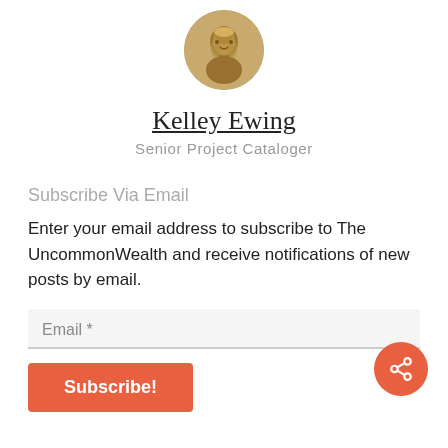[Figure (photo): Circular avatar photo of Kelley Ewing with golden/bronze tones]
Kelley Ewing
Senior Project Cataloger
Subscribe Via Email
Enter your email address to subscribe to The UncommonWealth and receive notifications of new posts by email.
Email *
Subscribe!